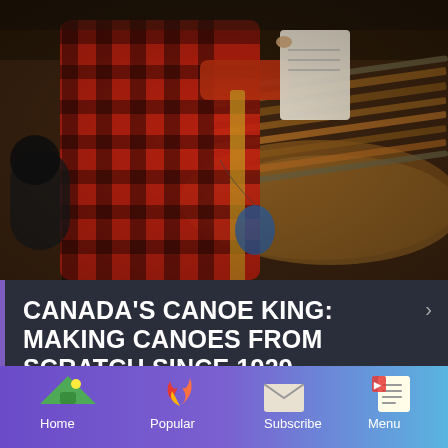[Figure (photo): Workshop scene showing a person in a red and black plaid flannel shirt holding a clipboard or paper, leaning over a wooden canoe frame in a woodworking workshop with various tools and materials visible.]
CANADA'S CANOE KING: MAKING CANOES FROM SCRATCH SINCE 1929.
Making canoes by hand isn't a business for
[Figure (infographic): Bottom navigation bar with four items: Home (green tent icon), Popular (red flame icon), Subscribe (envelope icon), Menu (document/list icon). Background is a purple-to-teal gradient.]